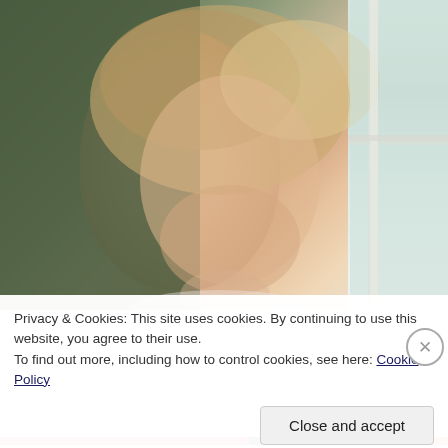[Figure (photo): Close-up portrait photo of a smiling blonde woman with her hair up, wearing pearl drop earrings and a white dress, looking slightly to the side near a window. Background shows green wall on the left and a bright window with white frame on the right.]
Privacy & Cookies: This site uses cookies. By continuing to use this website, you agree to their use.
To find out more, including how to control cookies, see here: Cookie Policy
Close and accept